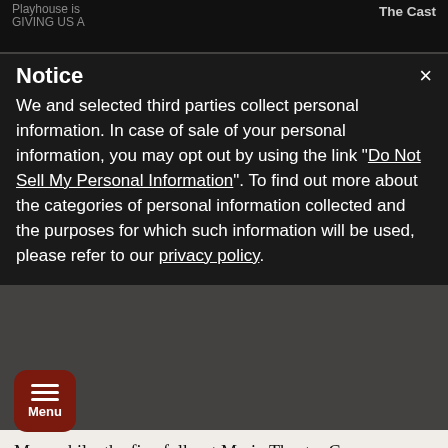Playhouse is GIVING US A [modern version of] ... The Cast
Notice
We and selected third parties collect personal information. In case of sale of your personal information, you may opt out by using the link "Do Not Sell My Personal Information". To find out more about the categories of personal information collected and the purposes for which such information will be used, please refer to our privacy policy.
Meanwhile, the fine folks at Marin Theatre Company are producing the world premiere (in partnership with Jungle Theater in Minneapolis and Northlight Theatre in Chicago) of the final installment in Lauren Gunderson and Margot Melcon's Christmas [at Pem]berley trilogy, Georgiana and Kitty: Christmas at Pemberley. [Wi]th the first two, the action takes place in the Jane Austen universe (to borrow a term from comic book films), with many characters first introduced to us in "Pride and Prejudice," with lavish sets and costumes by Nina Ball and Fumiko Bielefeldt, respectively.
In previous installments, the various Bennet sisters have found love, married, and had children—but not without overcoming the many hurdles placed in front of them by 19th century English mores, well-meaning (but narrow-minded) male relatives, and the